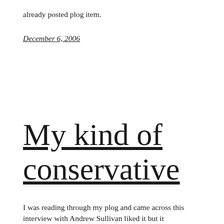already posted plog item.
December 6, 2006
My kind of conservative
I was reading through my plog and came across this interview with Andrew Sullivan liked it but it